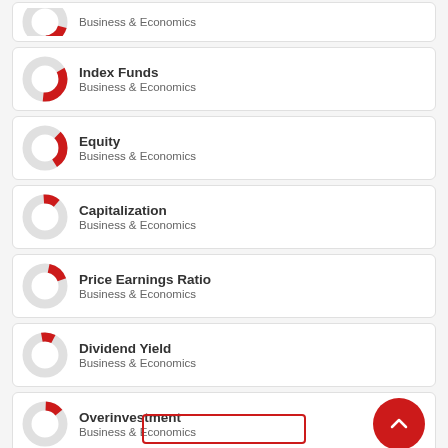Business & Economics (partial, top)
Index Funds — Business & Economics
Equity — Business & Economics
Capitalization — Business & Economics
Price Earnings Ratio — Business & Economics
Dividend Yield — Business & Economics
Overinvestment — Business & Economics